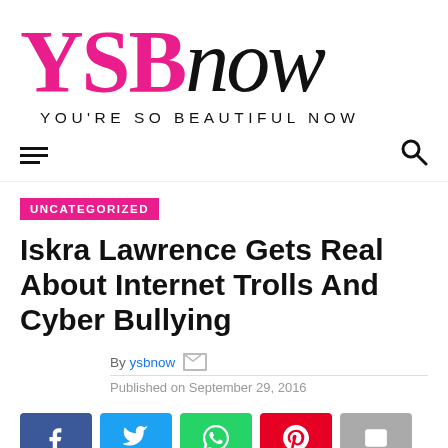[Figure (logo): YSBnow logo — YSB in magenta/pink bold serif, 'now' in black italic serif, tagline 'YOU'RE SO BEAUTIFUL NOW' below in spaced caps]
YOU'RE SO BEAUTIFUL NOW
UNCATEGORIZED
Iskra Lawrence Gets Real About Internet Trolls And Cyber Bullying
By ysbnow  Published on September 29, 2016
[Figure (infographic): Social share buttons: Facebook (blue), Twitter (cyan), WhatsApp (green), Pinterest (red), Email (grey)]